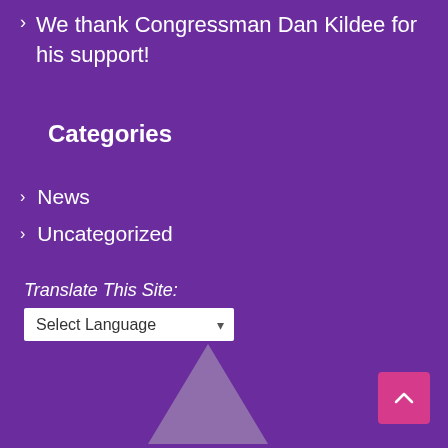We thank Congressman Dan Kildee for his support!
Categories
News
Uncategorized
Translate This Site:
[Figure (other): Logo triangle/arrow shape at bottom center of page]
[Figure (other): Pink scroll-to-top button with upward chevron arrow at bottom right]